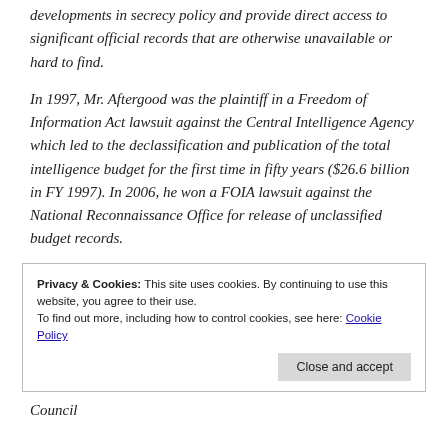developments in secrecy policy and provide direct access to significant official records that are otherwise unavailable or hard to find.
In 1997, Mr. Aftergood was the plaintiff in a Freedom of Information Act lawsuit against the Central Intelligence Agency which led to the declassification and publication of the total intelligence budget for the first time in fifty years ($26.6 billion in FY 1997). In 2006, he won a FOIA lawsuit against the National Reconnaissance Office for release of unclassified budget records.
Privacy & Cookies: This site uses cookies. By continuing to use this website, you agree to their use. To find out more, including how to control cookies, see here: Cookie Policy [Close and accept button]
Council